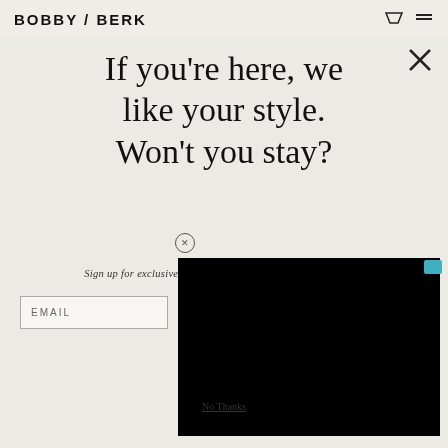BOBBY / BERK
If you're here, we like your style. Won't you stay?
Sign up for exclusive offers, original stories, events and more.
EMAIL
[Figure (screenshot): Black overlay block covering part of the modal]
No Thanks